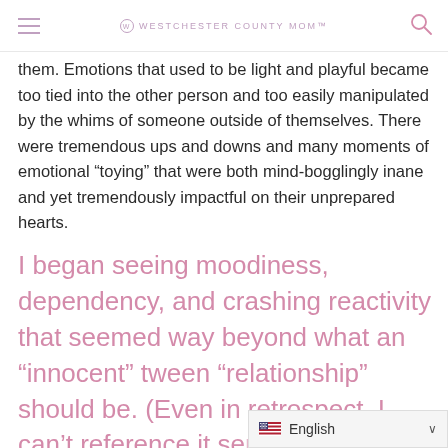WESTCHESTER COUNTY MOM
them. Emotions that used to be light and playful became too tied into the other person and too easily manipulated by the whims of someone outside of themselves. There were tremendous ups and downs and many moments of emotional “toying” that were both mind-bogglingly inane and yet tremendously impactful on their unprepared hearts.
I began seeing moodiness, dependency, and crashing reactivity that seemed way beyond what an “innocent” tween “relationship” should be. (Even in retrospect, I can’t reference it seriously without it its eventual impact)